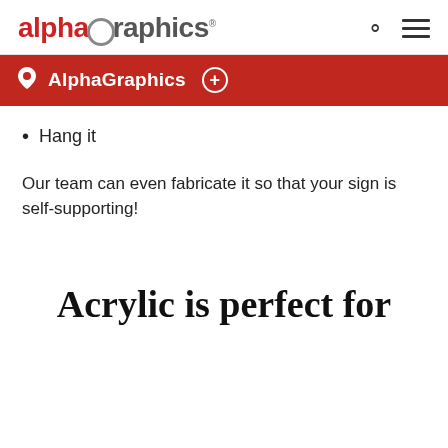alphagraphics
AlphaGraphics +
Hang it
Our team can even fabricate it so that your sign is self-supporting!
Acrylic is perfect for